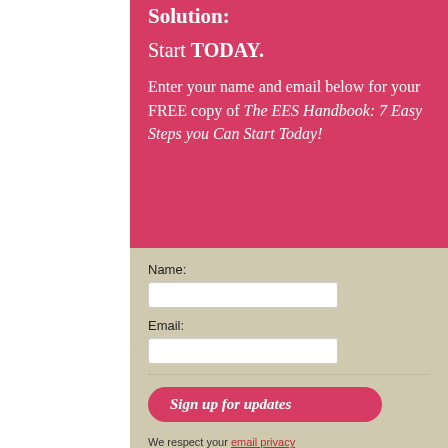Solution:
Start TODAY.
Enter your name and email below for your FREE copy of The EES Handbook: 7 Easy Steps you Can Start Today!
Name:
Email:
Sign up for updates
We respect your email privacy